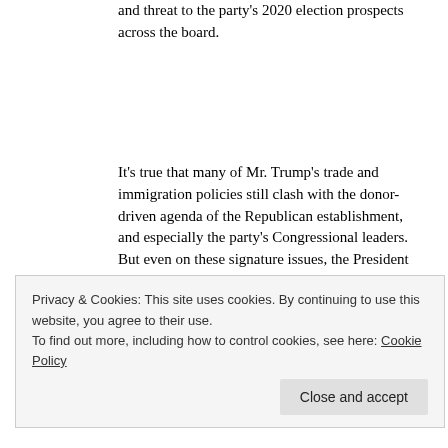and threat to the party's 2020 election prospects across the board.
It's true that many of Mr. Trump's trade and immigration policies still clash with the donor-driven agenda of the Republican establishment, and especially the party's Congressional leaders. But even on these signature issues, the President arguably could be breaking even more sharply with the longstanding Republican and
Privacy & Cookies: This site uses cookies. By continuing to use this website, you agree to their use.
To find out more, including how to control cookies, see here: Cookie Policy
Close and accept